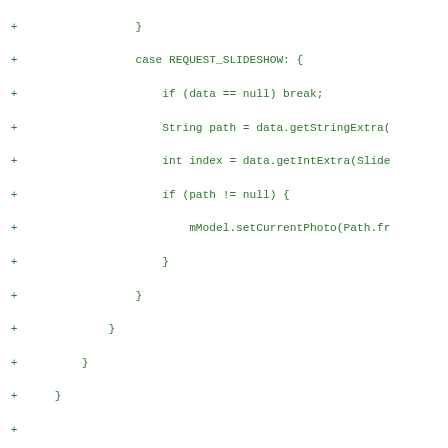[Figure (screenshot): A code diff screenshot showing added lines (marked with +) of Java code in green monospace font on white background. The code shows a switch case for REQUEST_SLIDESHOW and an onPause() method override with logic for pausing filmstrip view, details window, photo view, model, handler messages, and action bar listener removal, followed by an onResume() method declaration.]